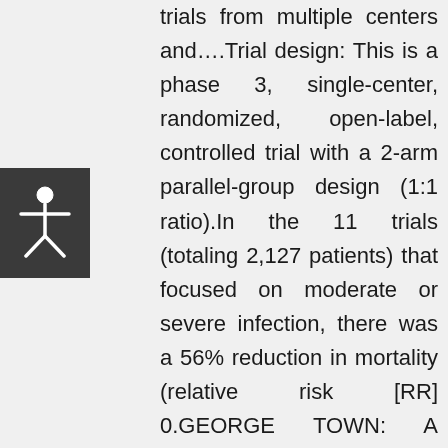[Figure (illustration): Accessibility button with a human figure icon (stick person with arms outstretched) on a dark gray background]
trials from multiple centers and….Trial design: This is a phase 3, single-center, randomized, open-label, controlled trial with a 2-arm parallel-group design (1:1 ratio).In the 11 trials (totaling 2,127 patients) that focused on moderate or severe infection, there was a 56% reduction in mortality (relative risk [RR] 0.GEORGE TOWN: A Health Ministry study to assess the efficacy of the drug Ivermectin in preventing severe Covid-19 disease will involve 500 patients, according to.Results from adequately powered, well-designed, and well-conducted clinical trials are needed to provide more specific, evidence-based guidance on the role of ivermectin in the treatment of COVID-19.Participants: The Severe Acute Respiratory Syndrome Departments of the Shahid Mohammadi